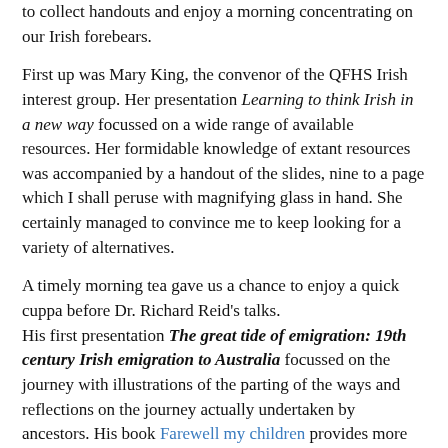to collect handouts and enjoy a morning concentrating on our Irish forebears.
First up was Mary King, the convenor of the QFHS Irish interest group. Her presentation Learning to think Irish in a new way focussed on a wide range of available resources. Her formidable knowledge of extant resources was accompanied by a handout of the slides, nine to a page which I shall peruse with magnifying glass in hand. She certainly managed to convince me to keep looking for a variety of alternatives.
A timely morning tea gave us a chance to enjoy a quick cuppa before Dr. Richard Reid's talks. His first presentation The great tide of emigration: 19th century Irish emigration to Australia focussed on the journey with illustrations of the parting of the ways and reflections on the journey actually undertaken by ancestors. His book Farewell my children provides more details on this story. The complete statistics used in his research are available online in the manuscript through ANU digital publications. The second talk There is no person starving here: Australia and the Great Famine in Ireland, 1845-1850 focussed on the